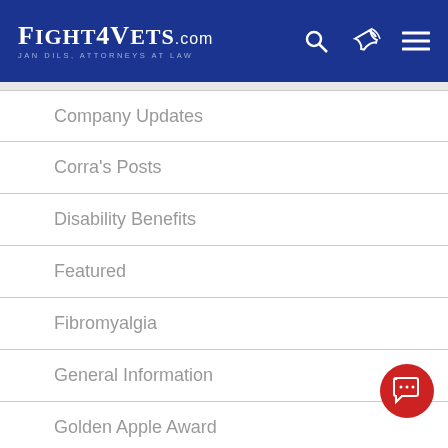FIGHT4VETS.com — Jan Dils, Attorneys at Law
Company Updates
Corra's Posts
Disability Benefits
Featured
Fibromyalgia
General Information
Golden Apple Award
Gulf War Symptoms
Gulf War Syndrome